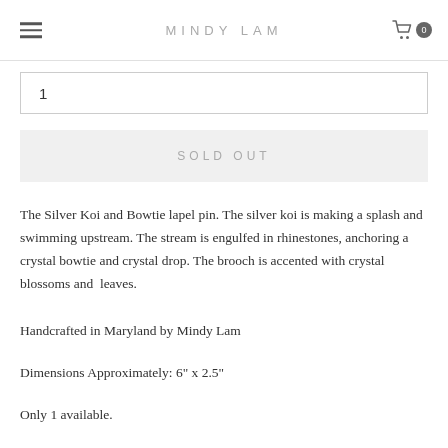MINDY LAM
1
SOLD OUT
The Silver Koi and Bowtie lapel pin. The silver koi is making a splash and swimming upstream. The stream is engulfed in rhinestones, anchoring a crystal bowtie and crystal drop. The brooch is accented with crystal blossoms and  leaves.
Handcrafted in Maryland by Mindy Lam
Dimensions Approximately: 6" x 2.5"
Only 1 available.